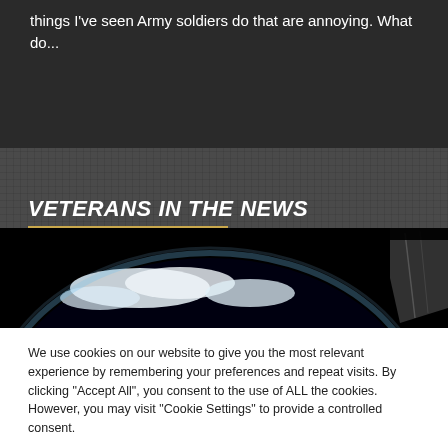things I've seen Army soldiers do that are annoying. What do...
VETERANS IN THE NEWS
[Figure (photo): Space view of Earth from orbit with atmosphere visible, dark space above and blue atmospheric glow with cloud-covered surface below, partial spacecraft element visible on right]
We use cookies on our website to give you the most relevant experience by remembering your preferences and repeat visits. By clicking "Accept All", you consent to the use of ALL the cookies. However, you may visit "Cookie Settings" to provide a controlled consent.
Cookie Settings   Accept All